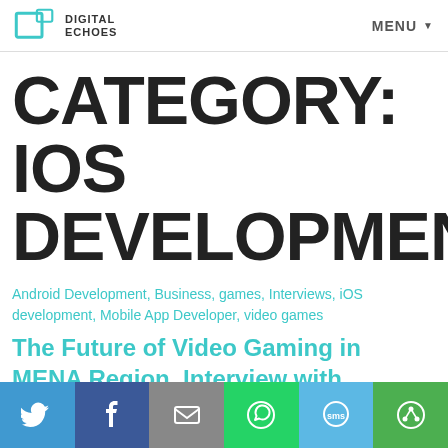DIGITAL ECHOES | MENU
CATEGORY: IOS DEVELOPMENT
Android Development, Business, games, Interviews, iOS development, Mobile App Developer, video games
The Future of Video Gaming in MENA Region. Interview with Entrepreneur Reine Abbas.
[Figure (infographic): Social share buttons: Twitter, Facebook, Email, WhatsApp, SMS, Share]